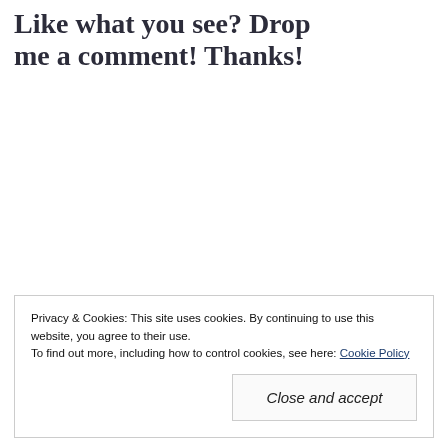Like what you see? Drop me a comment! Thanks!
Privacy & Cookies: This site uses cookies. By continuing to use this website, you agree to their use.
To find out more, including how to control cookies, see here: Cookie Policy
Close and accept